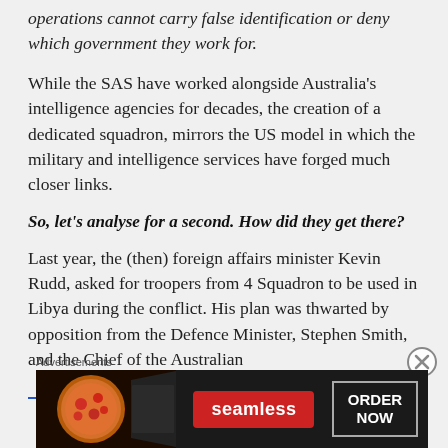operations cannot carry false identification or deny which government they work for.
While the SAS have worked alongside Australia's intelligence agencies for decades, the creation of a dedicated squadron, mirrors the US model in which the military and intelligence services have forged much closer links.
So, let's analyse for a second. How did they get there?
Last year, the (then) foreign affairs minister Kevin Rudd, asked for troopers from 4 Squadron to be used in Libya during the conflict. His plan was thwarted by opposition from the Defence Minister, Stephen Smith, and the Chief of the Australian
[Figure (other): Seamless pizza advertisement banner with ORDER NOW button]